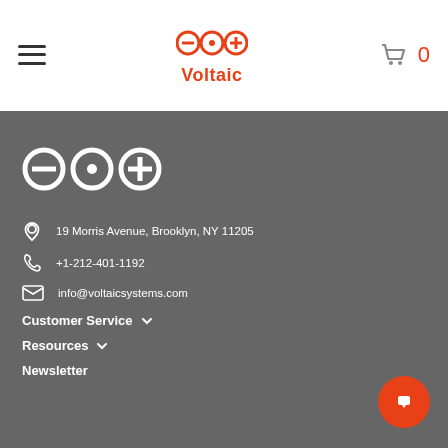Voltaic Systems website header with hamburger menu, logo, and cart icon showing 0
[Figure (logo): Voltaic Systems logo - three circles with minus, dot, and plus symbols in red, with Voltaic text below]
19 Morris Avenue, Brooklyn, NY 11205
+1-212-401-1192
info@voltaicsystems.com
Customer Service
Resources
Newsletter